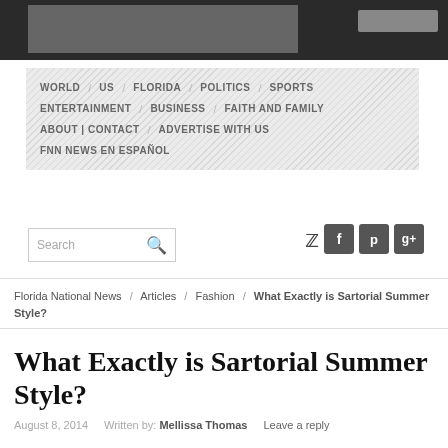[Figure (screenshot): Dark header bar with a gray image placeholder rectangle on the left]
WORLD / US / FLORIDA / POLITICS / SPORTS / ENTERTAINMENT / BUSINESS / FAITH AND FAMILY / ABOUT | CONTACT / ADVERTISE WITH US / FNN NEWS EN ESPAÑOL
Search [search icon] [Twitter] [Facebook] [Pinterest] [Google+]
Florida National News / Articles / Fashion / What Exactly is Sartorial Summer Style?
What Exactly is Sartorial Summer Style?
August 8, 2014   Written by: Mellissa Thomas   Leave a reply